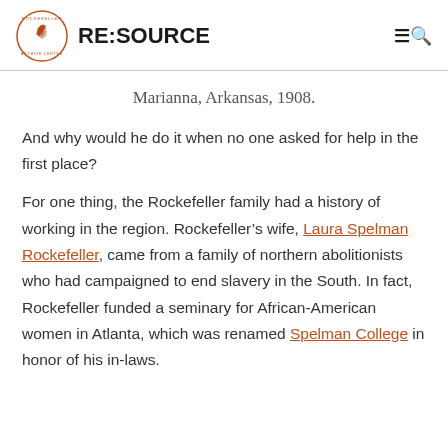RE:SOURCE
Marianna, Arkansas, 1908.
And why would he do it when no one asked for help in the first place?
For one thing, the Rockefeller family had a history of working in the region. Rockefeller’s wife, Laura Spelman Rockefeller, came from a family of northern abolitionists who had campaigned to end slavery in the South. In fact, Rockefeller funded a seminary for African-American women in Atlanta, which was renamed Spelman College in honor of his in-laws.